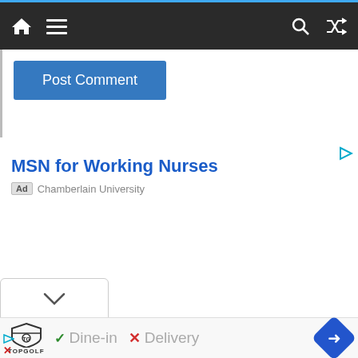Navigation bar with home, menu, search, and shuffle icons
Post Comment
[Figure (screenshot): Advertisement for MSN for Working Nurses by Chamberlain University with play icon]
[Figure (infographic): Bottom bar with Topgolf logo, Dine-in checkmark, Delivery X mark, and navigation arrow button]